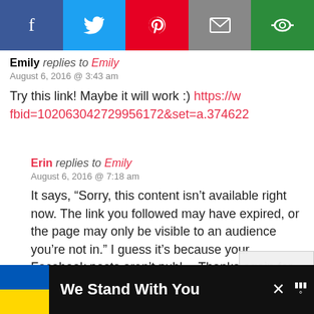[Figure (other): Social media share bar with Facebook (blue), Twitter (light blue), Pinterest (red), Email (gray), and another icon (green) buttons]
Emily replies to Emily
August 6, 2016 @ 3:43 am

Try this link! Maybe it will work :) https://w...fbid=102063042729956172&set=a.374622...
Erin replies to Emily
August 6, 2016 @ 7:18 am

It says, “Sorry, this content isn’t available right now. The link you followed may have expired, or the page may only be visible to an audience you’re not in.” I guess it’s because your Facebook posts aren’t public. Thanks again for trying! :)
[Figure (other): Bottom advertisement bar with Ukrainian flag and text 'We Stand With You']